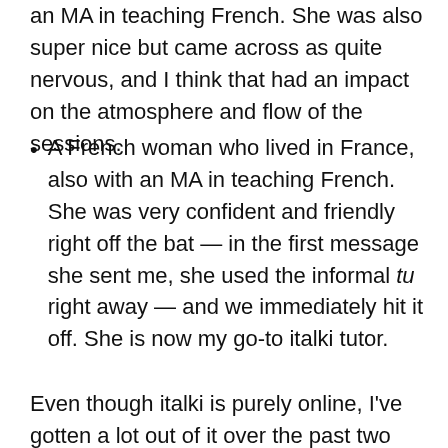an MA in teaching French. She was also super nice but came across as quite nervous, and I think that had an impact on the atmosphere and flow of the sessions.
A French woman who lived in France, also with an MA in teaching French. She was very confident and friendly right off the bat — in the first message she sent me, she used the informal tu right away — and we immediately hit it off. She is now my go-to italki tutor.
Even though italki is purely online, I've gotten a lot out of it over the past two years, so I'm going